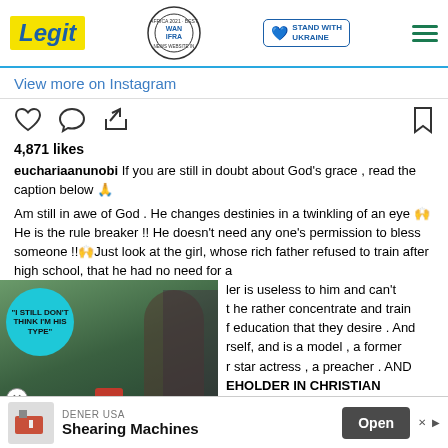Legit | WAN IFRA 2021 Best News Website in Africa | Stand with Ukraine
View more on Instagram
4,871 likes
euchariaanunobi If you are still in doubt about God's grace , read the caption below 🙏

Am still in awe of God . He changes destinies in a twinkling of an eye 🙌He is the rule breaker !! He doesn't need any one's permission to bless someone !!🙌Just look at the girl, whose rich father refused to train after high school, that he had no need for a girl ... her is useless to him and can't amount ... that he rather concentrate and train ... f education that they desire . And ... rself, and is a model , a former ... r star actress , a preacher . AND ... HOLDER IN CHRISTIAN ...
[Figure (photo): Overlapping video/image thumbnail with teal circle quote overlay '"I STILL DON'T THINK I'M HIS TYPE"' and a man in suit with woman]
DENER USA
Shearing Machines
Open